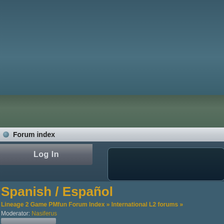Forum index
Log In
Spanish / Español
Lineage 2 Game PMfun Forum Index » International L2 forums »
Moderator: Nasiferus